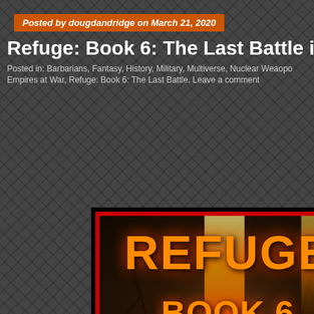Posted by dougdandridge on March 21, 2020
Refuge: Book 6: The Last Battle is
Posted in: Barbarians, Fantasy, History, Military, Multiverse, Nuclear Weaopo
Empires at War, Refuge: Book 6: The Last Battle. Leave a comment
[Figure (illustration): Book cover for Refuge Book 6 showing large bold orange text 'REFUGE' and 'BOOK 6' over a dark fantasy background with fire and a figure silhouette, surrounded by a red border frame]